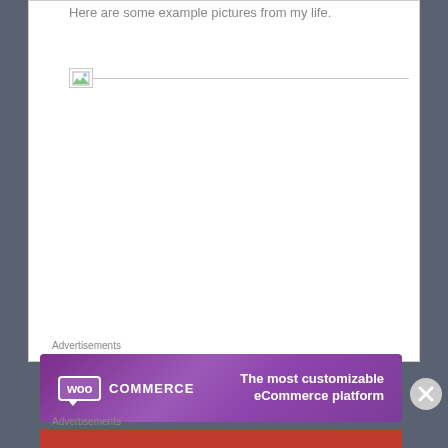Here are some example pictures from my life.
[Figure (other): Broken image placeholder icon with horizontal line]
Advertisements
[Figure (other): WooCommerce advertisement banner: 'The most customizable eCommerce platform']
[Figure (other): Close/dismiss button (X circle)]
Advertisements
[Figure (other): Macy's advertisement banner: 'KISS BORING LIPS GOODBYE - SHOP NOW - macy's']